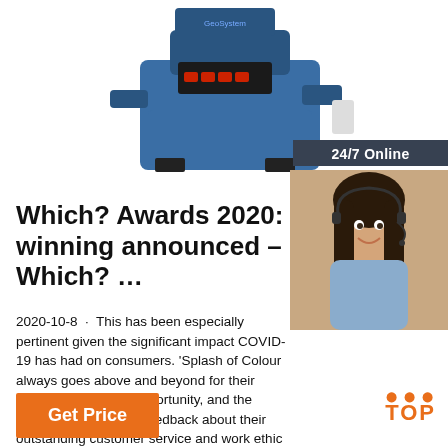[Figure (photo): Blue industrial machine/equipment with GeoSystem branding at top of page]
24/7 Online
[Figure (photo): Customer service agent woman with headset smiling, with 24/7 Online overlay and Click here for free chat / QUOTATION button]
Which? Awards 2020: winning announced – Which? …
2020-10-8 · This has been especially pertinent given the significant impact COVID-19 has had on consumers. 'Splash of Colour always goes above and beyond for their customers at every opportunity, and the consistent consumer feedback about their outstanding customer service and work ethic demonstrates why this trader is such a worthy winner.'
Get Price